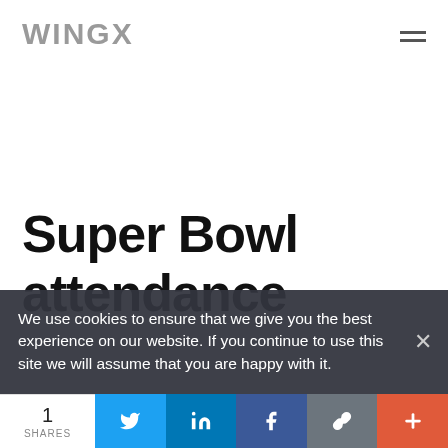WINGX
Super Bowl attendance
We use cookies to ensure that we give you the best experience on our website. If you continue to use this site we will assume that you are happy with it.
1 SHARES